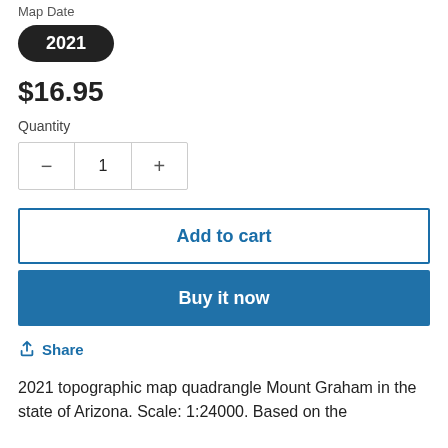Map Date
2021
$16.95
Quantity
1
Add to cart
Buy it now
Share
2021 topographic map quadrangle Mount Graham in the state of Arizona. Scale: 1:24000. Based on the